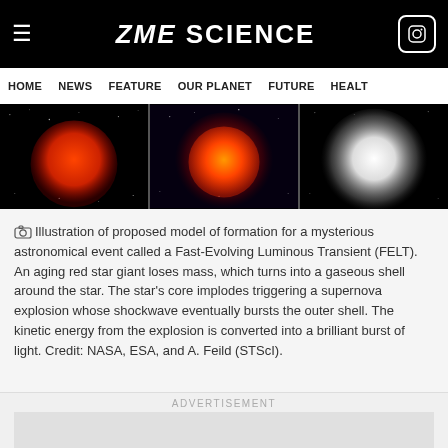ZME SCIENCE
HOME  NEWS  FEATURE  OUR PLANET  FUTURE  HEALT
[Figure (illustration): Three-panel illustration showing stages of a Fast-Evolving Luminous Transient (FELT): a red giant star, a red supernova explosion against a starfield, and a bright white light burst.]
Illustration of proposed model of formation for a mysterious astronomical event called a Fast-Evolving Luminous Transient (FELT). An aging red star giant loses mass, which turns into a gaseous shell around the star. The star's core implodes triggering a supernova explosion whose shockwave eventually bursts the outer shell. The kinetic energy from the explosion is converted into a brilliant burst of light. Credit: NASA, ESA, and A. Feild (STScI).
ADVERTISEMENT